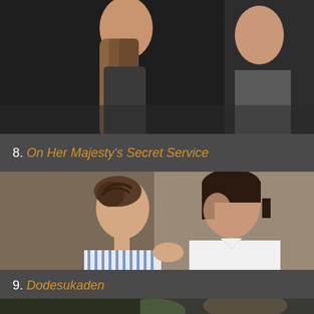[Figure (photo): Partial view of a movie still from a film above #8, showing two people close together]
8. On Her Majesty's Secret Service
[Figure (photo): Movie still from On Her Majesty's Secret Service showing a woman with braided updo hair and a man in a white shirt facing each other closely]
9. Dodesukaden
[Figure (photo): Partial movie still from Dodesukaden showing figures, partially cropped at bottom of page]